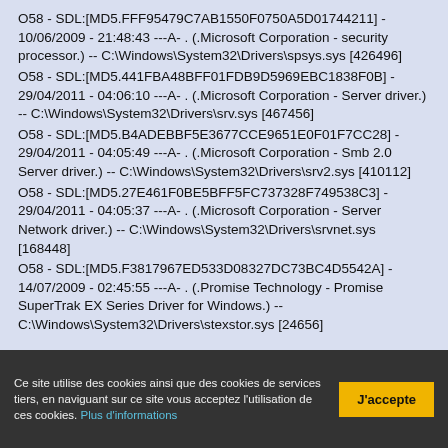O58 - SDL:[MD5.FFF95479C7AB1550F0750A5D01744211] - 10/06/2009 - 21:48:43 ---A- . (.Microsoft Corporation - security processor.) -- C:\Windows\System32\Drivers\spsys.sys [426496]
O58 - SDL:[MD5.441FBA48BFF01FDB9D5969EBC1838F0B] - 29/04/2011 - 04:06:10 ---A- . (.Microsoft Corporation - Server driver.) -- C:\Windows\System32\Drivers\srv.sys [467456]
O58 - SDL:[MD5.B4ADEBBF5E3677CCE9651E0F01F7CC28] - 29/04/2011 - 04:05:49 ---A- . (.Microsoft Corporation - Smb 2.0 Server driver.) -- C:\Windows\System32\Drivers\srv2.sys [410112]
O58 - SDL:[MD5.27E461F0BE5BFF5FC737328F749538C3] - 29/04/2011 - 04:05:37 ---A- . (.Microsoft Corporation - Server Network driver.) -- C:\Windows\System32\Drivers\srvnet.sys [168448]
O58 - SDL:[MD5.F3817967ED533D08327DC73BC4D5542A] - 14/07/2009 - 02:45:55 ---A- . (.Promise Technology - Promise SuperTrak EX Series Driver for Windows.) -- C:\Windows\System32\Drivers\stexstor.sys [24656]
Ce site utilise des cookies ainsi que des cookies de services tiers, en naviguant sur ce site vous acceptez l'utilisation de ces cookies. Plus d'informations